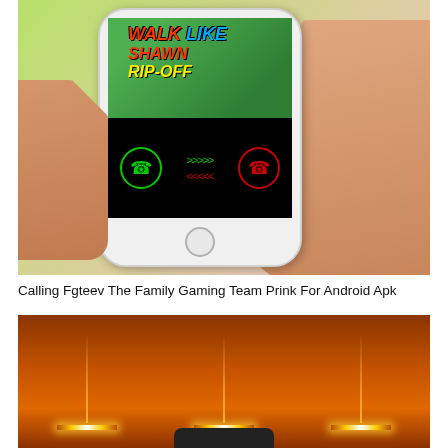[Figure (photo): A hand holding a smartphone displaying a gaming-themed prank call app screen with 'Walk Like Shawn Rip-Off' text and phone call accept/decline buttons, set against a green-pink gradient background.]
Calling Fgteev The Family Gaming Team Prink For Android Apk
[Figure (photo): A dark orange/brown gradient background with three glowing amber light bars hanging down, with a dark rounded device shape at the bottom.]